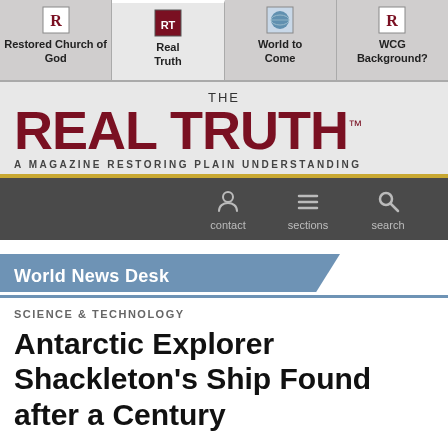Restored Church of God | Real Truth | World to Come | WCG Background?
THE REAL TRUTH™ — A MAGAZINE RESTORING PLAIN UNDERSTANDING
[Figure (screenshot): Dark navigation bar with contact, sections, search icons]
World News Desk
SCIENCE & TECHNOLOGY
Antarctic Explorer Shackleton's Ship Found after a Century